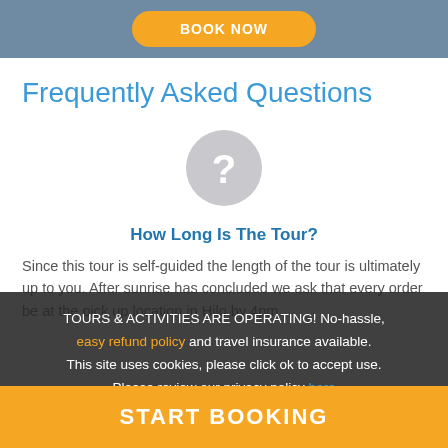[Figure (other): Orange rounded 'BOOK NOW' button on a steel-blue header bar]
Frequently Asked Questions
[Figure (other): Gray circle with white question mark icon]
How Long Is The Tour?
Since this tour is self-guided the length of the tour is ultimately up to you. After sunrise has concluded we ask that every order be at the pick up location in Hilo by 4pm.
TOURS & ACTIVITIES ARE OPERATING! No-hassle, easy refund policy and travel insurance available. This site uses cookies, please click ok to accept use. Please review our privacy policy here
[Figure (other): Orange 'START BOOKING' button bar at the bottom]